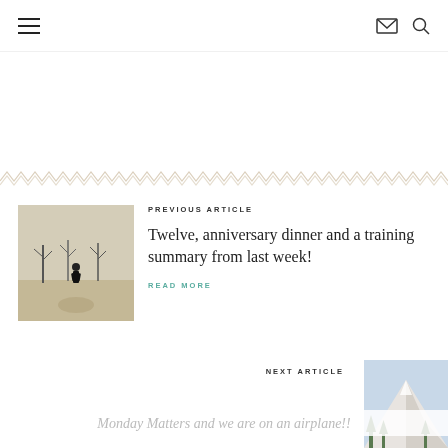Navigation header with menu, mail, and search icons
[Figure (illustration): Decorative zigzag/chevron pattern border divider]
[Figure (photo): Thumbnail photo of a person standing on a path among bare trees in winter/autumn]
PREVIOUS ARTICLE
Twelve, anniversary dinner and a training summary from last week!
READ MORE
NEXT ARTICLE
[Figure (photo): Thumbnail photo showing a snowy mountain landscape]
Monday Matters and we are on an airplane!!